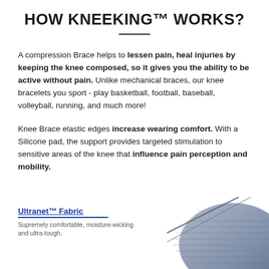HOW KNEEKING™ WORKS?
A compression Brace helps to lessen pain, heal injuries by keeping the knee composed, so it gives you the ability to be active without pain. Unlike mechanical braces, our knee bracelets you sport - play basketball, football, baseball, volleyball, running, and much more!
Knee Brace elastic edges increase wearing comfort. With a Silicone pad, the support provides targeted stimulation to sensitive areas of the knee that influence pain perception and mobility.
Ultranet™ Fabric
Supremely comfortable, moisture-wicking and ultra-tough.
[Figure (photo): Corner of a knee brace product showing textured fabric, partially visible at bottom right of the page]